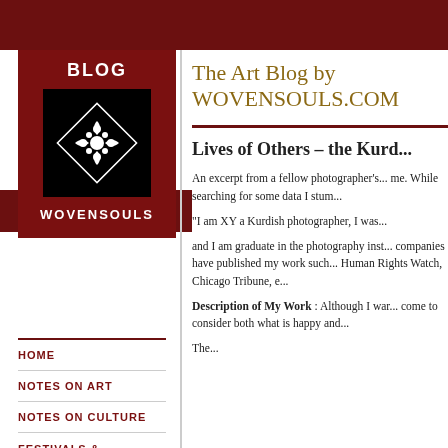BLOG WOVENSOULS
The Art Blog by WOVENSOULS.COM
HOME
NOTES ON ART
NOTES ON CULTURE
FESTIVALS & CEREMONIES
NOTES ON TRAVEL
NOTES BY DESTINATION
Lives of Others – the Kurd...
An excerpt from a fellow photographer's... me. While searching for some data I stum...
“I am XY a Kurdish photographer, I was...
and I am graduate in the photography inst... companies have published my work such... Human Rights Watch, Chicago Tribune, e...
Description of My Work : Although I war... come to consider both what is happy and...
The...